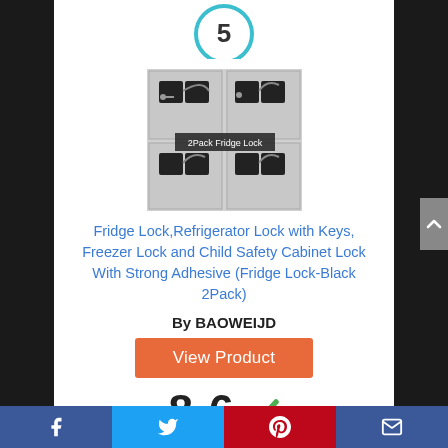[Figure (other): Number 5 inside a teal/blue circle (ranking indicator)]
[Figure (photo): Product photo of 2Pack Fridge Lock showing two black fridge locks mounted on a refrigerator with keys]
Fridge Lock,Refrigerator Lock with Keys, Freezer Lock and Child Safety Cabinet Lock With Strong Adhesive (Fridge Lock-Black 2Pack)
By BAOWEIJD
View Product
8.6
Facebook | Twitter | Pinterest | Email